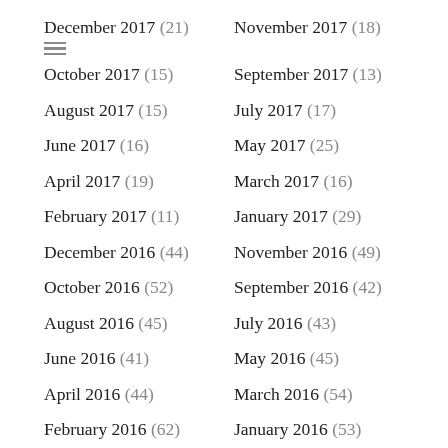December 2017 (21)
November 2017 (18)
October 2017 (15)
September 2017 (13)
August 2017 (15)
July 2017 (17)
June 2017 (16)
May 2017 (25)
April 2017 (19)
March 2017 (16)
February 2017 (11)
January 2017 (29)
December 2016 (44)
November 2016 (49)
October 2016 (52)
September 2016 (42)
August 2016 (45)
July 2016 (43)
June 2016 (41)
May 2016 (45)
April 2016 (44)
March 2016 (54)
February 2016 (62)
January 2016 (53)
December 2015 (53)
November 2015 (50)